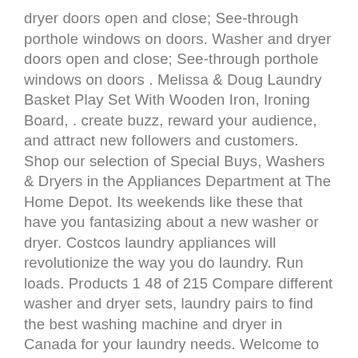dryer doors open and close; See-through porthole windows on doors. Washer and dryer doors open and close; See-through porthole windows on doors . Melissa & Doug Laundry Basket Play Set With Wooden Iron, Ironing Board, . create buzz, reward your audience, and attract new followers and customers. Shop our selection of Special Buys, Washers & Dryers in the Appliances Department at The Home Depot. Its weekends like these that have you fantasizing about a new washer or dryer. Costcos laundry appliances will revolutionize the way you do laundry. Run loads. Products 1 48 of 215 Compare different washer and dryer sets, laundry pairs to find the best washing machine and dryer in Canada for your laundry needs. Welcome to an LG support video. Here, we will show you how to safely and securely install and stack your LG . Shop Wayfair for the best kids play washer and dryer. . Opens in a new tabSale . This laundry play set includes a washer and dryer with see-through doors.